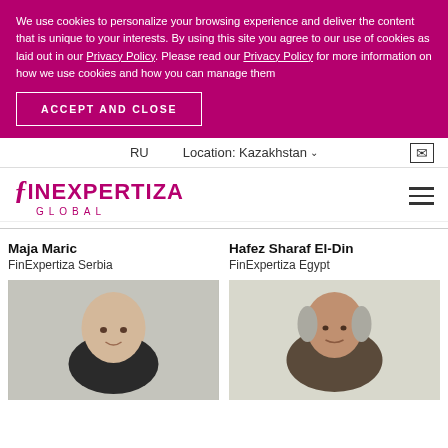We use cookies to personalize your browsing experience and deliver the content that is unique to your interests. By using this site you agree to our use of cookies as laid out in our Privacy Policy. Please read our Privacy Policy for more information on how we use cookies and how you can manage them
ACCEPT AND CLOSE
RU | Location: Kazakhstan ∨ | [mail icon]
[Figure (logo): FinExpertiza Global logo in magenta/pink color with stylized 'f' and italic 'i']
Maja Maric
FinExpertiza Serbia
Hafez Sharaf El-Din
FinExpertiza Egypt
[Figure (photo): Portrait photo of a bald young man against a grey background]
[Figure (photo): Portrait photo of an older man against a light background]